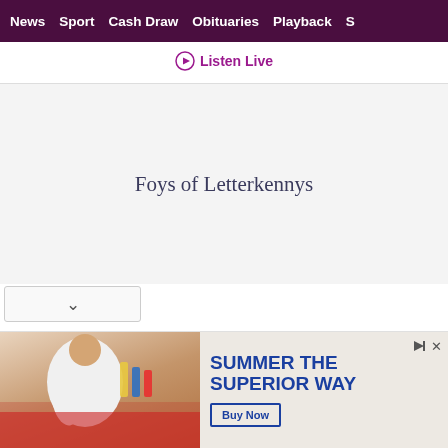News | Sport | Cash Draw | Obituaries | Playback | S
Listen Live
Foys of Letterkennys
[Figure (photo): Advertisement banner showing a person in a white t-shirt holding bottles, with text 'SUMMER THE SUPERIOR WAY' and a 'Buy Now' button.]